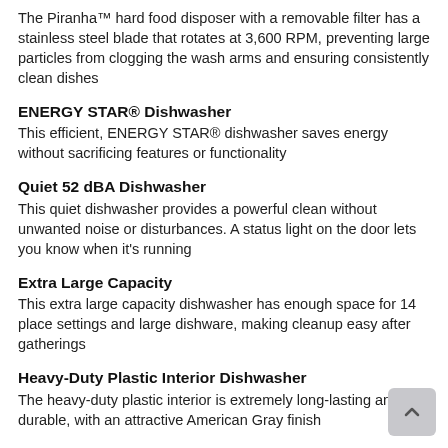The Piranha™ hard food disposer with a removable filter has a stainless steel blade that rotates at 3,600 RPM, preventing large particles from clogging the wash arms and ensuring consistently clean dishes
ENERGY STAR® Dishwasher
This efficient, ENERGY STAR® dishwasher saves energy without sacrificing features or functionality
Quiet 52 dBA Dishwasher
This quiet dishwasher provides a powerful clean without unwanted noise or disturbances. A status light on the door lets you know when it's running
Extra Large Capacity
This extra large capacity dishwasher has enough space for 14 place settings and large dishware, making cleanup easy after gatherings
Heavy-Duty Plastic Interior Dishwasher
The heavy-duty plastic interior is extremely long-lasting and durable, with an attractive American Gray finish
Flush Installation